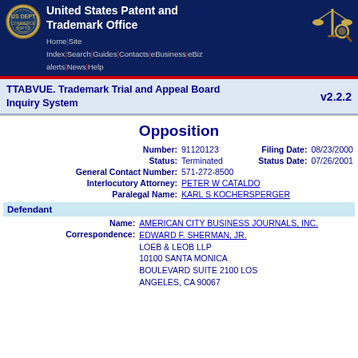United States Patent and Trademark Office — Home | Site Index | Search | Guides | Contacts | eBusiness | eBiz alerts | News | Help
TTABVUE. Trademark Trial and Appeal Board Inquiry System v2.2.2
Opposition
| Number: | 91120123 | Filing Date: | 08/23/2000 |
| Status: | Terminated | Status Date: | 07/26/2001 |
| General Contact Number: | 571-272-8500 |  |  |
| Interlocutory Attorney: | PETER W CATALDO |  |  |
| Paralegal Name: | KARL S KOCHERSPERGER |  |  |
Defendant
| Name: | AMERICAN CITY BUSINESS JOURNALS, INC. |
| Correspondence: | EDWARD F. SHERMAN, JR.
LOEB & LEOB LLP
10100 SANTA MONICA
BOULEVARD SUITE 2100 LOS
ANGELES, CA 90067 |